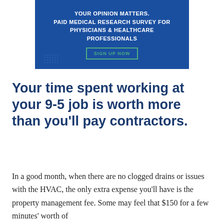[Figure (other): Advertisement banner with blue background. Text reads: YOUR OPINION MATTERS. PAID MEDICAL RESEARCH SURVEY FOR PHYSICIANS & HEALTHCARE PROFESSIONALS. Green-bordered button: SIGN UP NOW.]
Your time spent working at your 9-5 job is worth more than you'll pay contractors.
In a good month, when there are no clogged drains or issues with the HVAC, the only extra expense you'll have is the property management fee. Some may feel that $150 for a few minutes' worth of